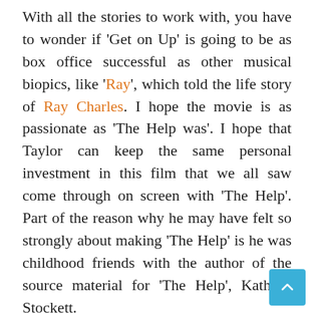With all the stories to work with, you have to wonder if 'Get on Up' is going to be as box office successful as other musical biopics, like 'Ray', which told the life story of Ray Charles. I hope the movie is as passionate as 'The Help was'. I hope that Taylor can keep the same personal investment in this film that we all saw come through on screen with 'The Help'. Part of the reason why he may have felt so strongly about making 'The Help' is he was childhood friends with the author of the source material for 'The Help', Kathryn Stockett.